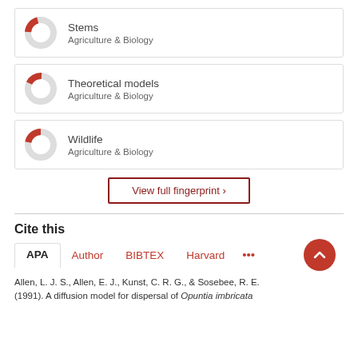Stems — Agriculture & Biology
Theoretical models — Agriculture & Biology
Wildlife — Agriculture & Biology
View full fingerprint >
Cite this
APA  Author  BIBTEX  Harvard  ...
Allen, L. J. S., Allen, E. J., Kunst, C. R. G., & Sosebee, R. E. (1991). A diffusion model for dispersal of Opuntia imbricata